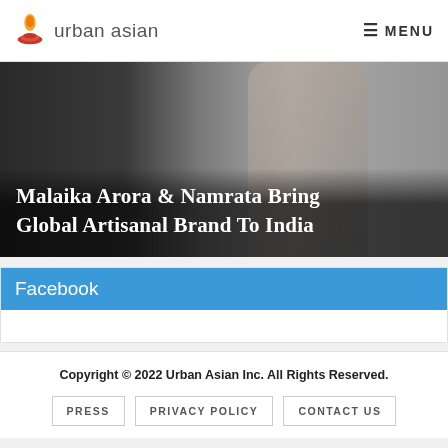urban asian  MENU
[Figure (photo): Fashion photo background with dark overlay and white serif text reading 'Malaika Arora & Namrata Bring Global Artisanal Brand To India']
Malaika Arora & Namrata Bring Global Artisanal Brand To India
Facebook
Copyright © 2022 Urban Asian Inc. All Rights Reserved.
PRESS
PRIVACY POLICY
CONTACT US